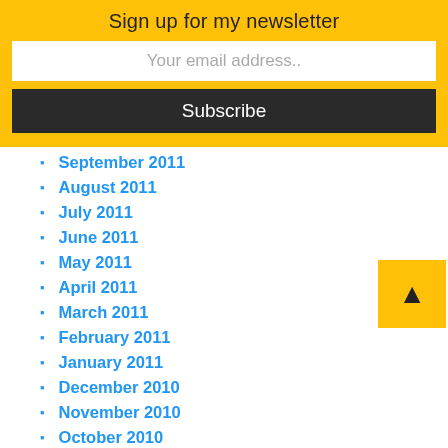Sign up for my newsletter
Your email address..
Subscribe
September 2011
August 2011
July 2011
June 2011
May 2011
April 2011
March 2011
February 2011
January 2011
December 2010
November 2010
October 2010
September 2010
August 2010
July 2010
June 2010
May 2010